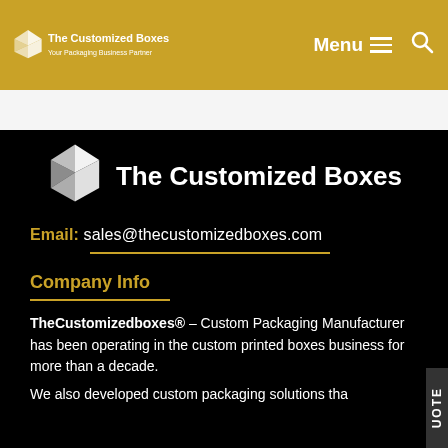The Customized Boxes — Your Packaging Business Partner | Menu | Search
[Figure (logo): The Customized Boxes logo: white geometric diamond/arrow shapes forming a logo icon with company name 'The Customized Boxes' on black background]
Email: sales@thecustomizedboxes.com
Company Info
TheCustomizedboxes® – Custom Packaging Manufacturer has been operating in the custom printed boxes business for more than a decade.
We also developed custom packaging solutions tha...